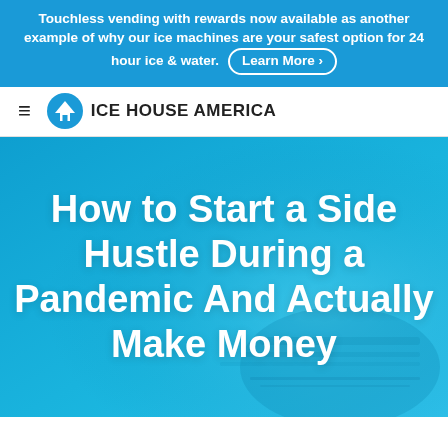Touchless vending with rewards now available as another example of why our ice machines are your safest option for 24 hour ice & water. Learn More ›
[Figure (logo): Ice House America logo with hamburger menu icon and circular blue logo mark]
[Figure (photo): Blue-toned hero image with a person working on a laptop, overlaid with large white bold title text]
How to Start a Side Hustle During a Pandemic And Actually Make Money